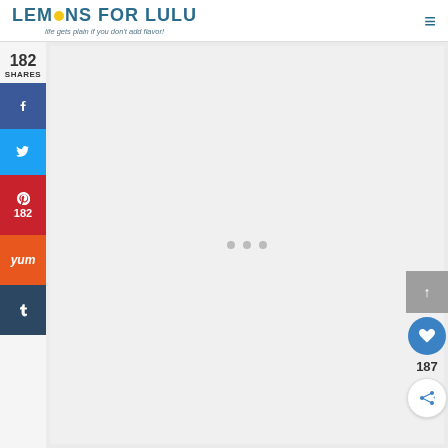LEMONS FOR LULU — life gets plain if you don't add flavor!
182 SHARES
[Figure (screenshot): Social share sidebar with Facebook, Twitter, Pinterest (182), Yummly, and Tumblr buttons]
[Figure (screenshot): Main content area with loading dots placeholder]
[Figure (screenshot): Right-side widgets: scroll-to-top button, heart/like button with count 187, and share button]